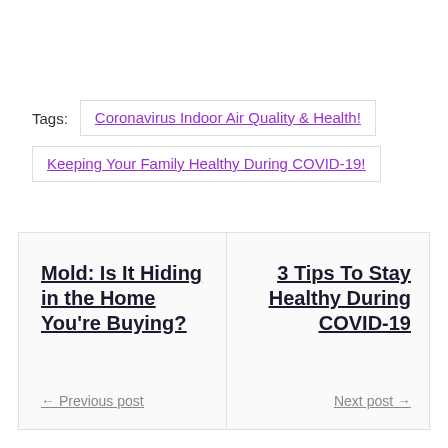Tags:
Coronavirus Indoor Air Quality & Health!
Keeping Your Family Healthy During COVID-19!
Mold: Is It Hiding in the Home You're Buying? ← Previous post
3 Tips To Stay Healthy During COVID-19 Next post →